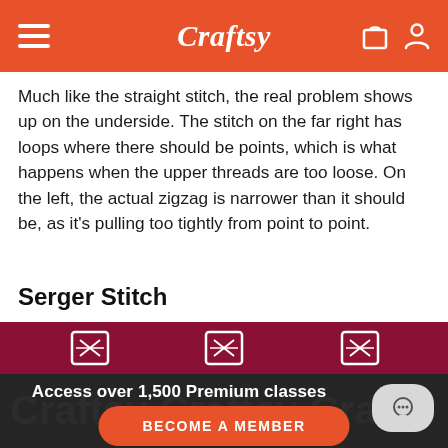Craftsy
Much like the straight stitch, the real problem shows up on the underside. The stitch on the far right has loops where there should be points, which is what happens when the upper threads are too loose. On the left, the actual zigzag is narrower than it should be, as it's pulling too tightly from point to point.
Serger Stitch
[Figure (photo): Close-up photo of a serger stitch on dark red/maroon fabric showing white thread patterns]
Access over 1,500 Premium classes
BECOME A MEMBER